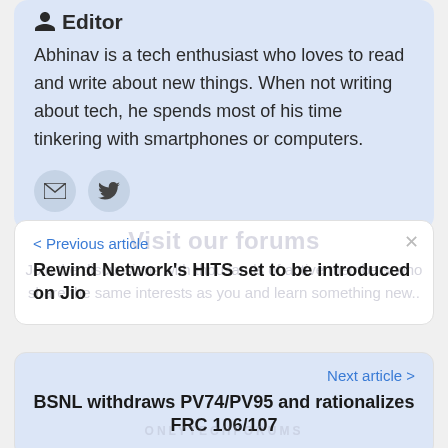Editor
Abhinav is a tech enthusiast who loves to read and write about new things. When not writing about tech, he spends most of his time tinkering with smartphones or computers.
< Previous article
Rewind Network's HITS set to be introduced on Jio
Visit our forums
Join the discussions with thousands of active members who share the same interests as you and learn something new..
Next article >
BSNL withdraws PV74/PV95 and rationalizes FRC 106/107